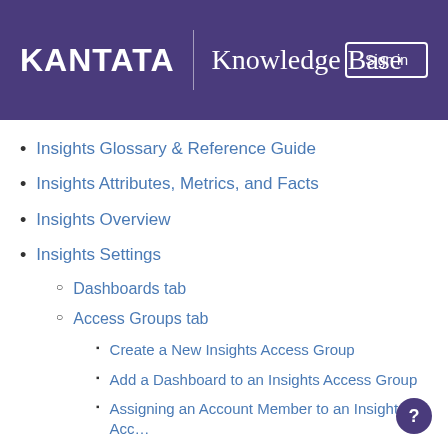KANTATA | Knowledge Base
Insights Glossary & Reference Guide
Insights Attributes, Metrics, and Facts
Insights Overview
Insights Settings
Dashboards tab
Access Groups tab
Create a New Insights Access Group
Add a Dashboard to an Insights Access Group
Assigning an Account Member to an Insights Acc…
Insights Details Panel
Insights Advanced Editor
Insights Scheduled Data Exporter